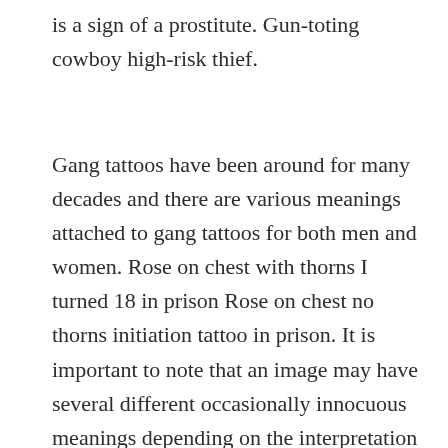is a sign of a prostitute. Gun-toting cowboy high-risk thief.
Gang tattoos have been around for many decades and there are various meanings attached to gang tattoos for both men and women. Rose on chest with thorns I turned 18 in prison Rose on chest no thorns initiation tattoo in prison. It is important to note that an image may have several different occasionally innocuous meanings depending on the interpretation of the individual or gangs using it.